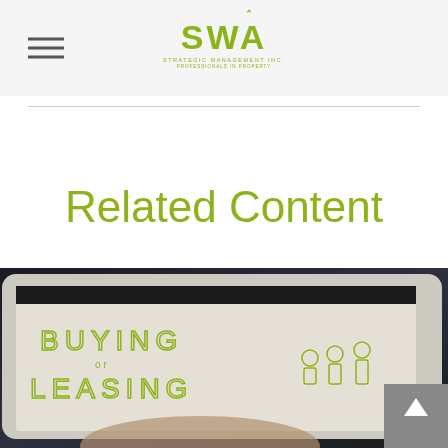SWA - Strategic Management Associates
Related Content
[Figure (photo): Hands holding a tablet displaying text 'Buying or Leasing' with infographic icons on screen, dark background]